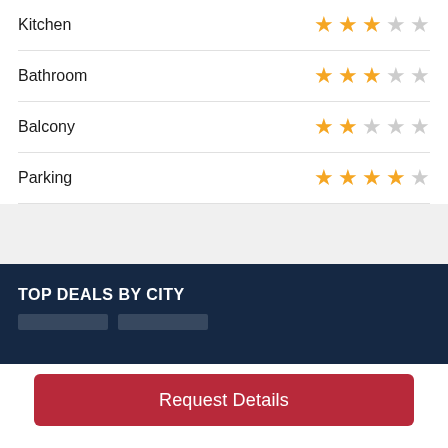Kitchen — 3 out of 5 stars
Bathroom — 3 out of 5 stars
Balcony — 2 out of 5 stars
Parking — 4 out of 5 stars
TOP DEALS BY CITY
Request Details